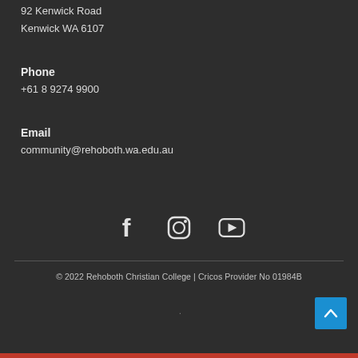92 Kenwick Road
Kenwick WA 6107
Phone
+61 8 9274 9900
Email
community@rehoboth.wa.edu.au
[Figure (infographic): Social media icons: Facebook, Instagram, YouTube]
© 2022 Rehoboth Christian College | Cricos Provider No 01984B